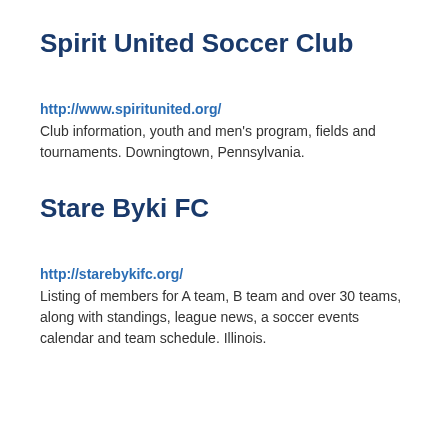Spirit United Soccer Club
http://www.spiritunited.org/
Club information, youth and men's program, fields and tournaments. Downingtown, Pennsylvania.
Stare Byki FC
http://starebykifc.org/
Listing of members for A team, B team and over 30 teams, along with standings, league news, a soccer events calendar and team schedule. Illinois.